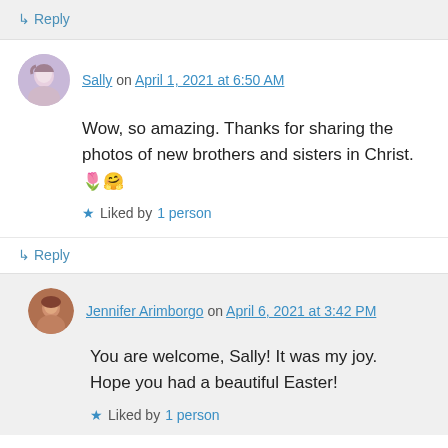↳ Reply
Sally on April 1, 2021 at 6:50 AM
Wow, so amazing. Thanks for sharing the photos of new brothers and sisters in Christ. 🌷🤗
★ Liked by 1 person
↳ Reply
Jennifer Arimborgo on April 6, 2021 at 3:42 PM
You are welcome, Sally! It was my joy. Hope you had a beautiful Easter!
★ Liked by 1 person